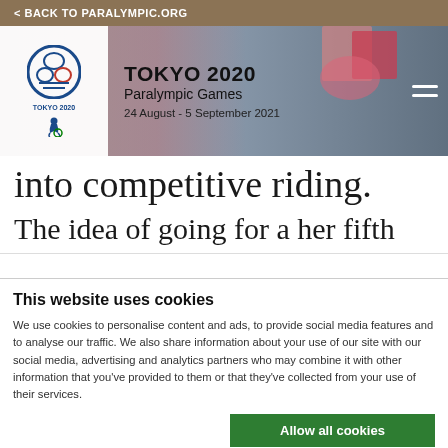< BACK TO PARALYMPIC.ORG
[Figure (screenshot): Tokyo 2020 Paralympic Games header banner with logo, title 'TOKYO 2020 Paralympic Games 24 August - 5 September 2021', decorative pink/red shapes and city skyline background, hamburger menu icon]
into competitive riding.
The idea of going for a her fifth
This website uses cookies
We use cookies to personalise content and ads, to provide social media features and to analyse our traffic. We also share information about your use of our site with our social media, advertising and analytics partners who may combine it with other information that you've provided to them or that they've collected from your use of their services.
Allow all cookies
Allow selection
Use necessary cookies on
essary   Preferences   Statistics   Show details
keting